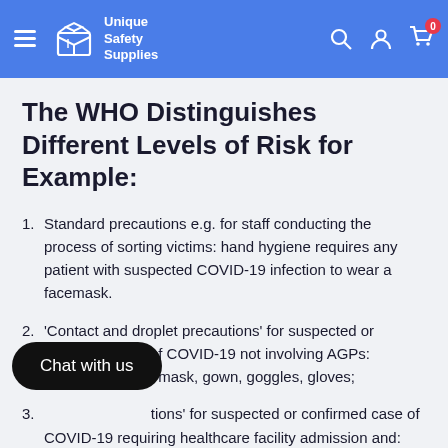Unique Safety Supplies
The WHO Distinguishes Different Levels of Risk for Example:
Standard precautions e.g. for staff conducting the process of sorting victims: hand hygiene requires any patient with suspected COVID-19 infection to wear a facemask.
'Contact and droplet precautions' for suspected or confirmed case of COVID-19 not involving AGPs: requires surgical mask, gown, goggles, gloves;
[Airborne precautions] for suspected or confirmed case of COVID-19 requiring healthcare facility admission and: